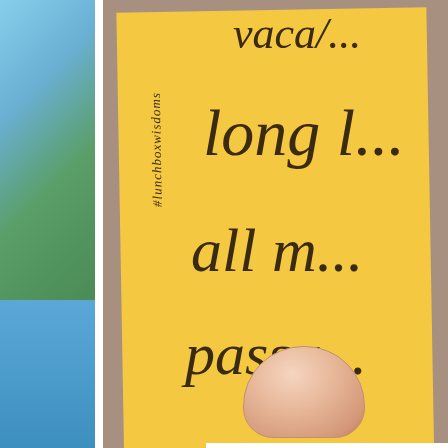[Figure (photo): A photo of a yellow sticky note or card held against a stone/granite surface. The note has handwritten text reading partially visible words: 'vaca [...]', 'long [...]', 'all m[...]', 'passu[...]'. Along the left edge of the yellow card, written vertically, is '#lunchboxwisdoms'. A person's thumb is visible at the bottom holding the card. To the left of the main photo is a strip showing a blue sky with clouds and green grass landscape.]